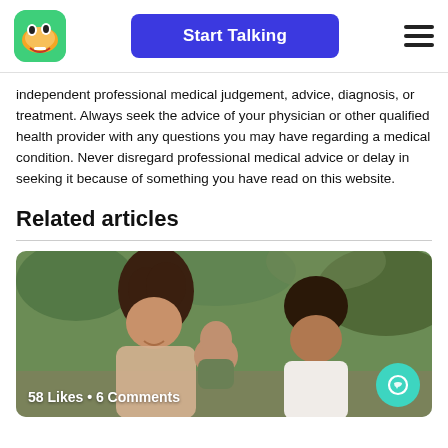Start Talking
independent professional medical judgement, advice, diagnosis, or treatment. Always seek the advice of your physician or other qualified health provider with any questions you may have regarding a medical condition. Never disregard professional medical advice or delay in seeking it because of something you have read on this website.
Related articles
[Figure (photo): A smiling family — a woman with curly hair, a man in a white shirt, and a baby in green clothing — outdoors. Overlay text reads '58 Likes • 6 Comments'.]